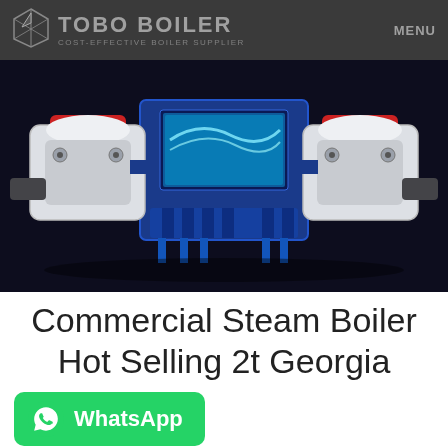TOBO BOILER – COST-EFFECTIVE BOILER SUPPLIER | MENU
[Figure (photo): Industrial commercial steam boiler unit rendered in blue and white with red accents, shown against a dark navy background. The boiler has two side burner assemblies and a central blue frame structure.]
Commercial Steam Boiler Hot Selling 2t Georgia
[Figure (other): WhatsApp contact button with green background, WhatsApp logo icon, and bold white text reading 'WhatsApp']